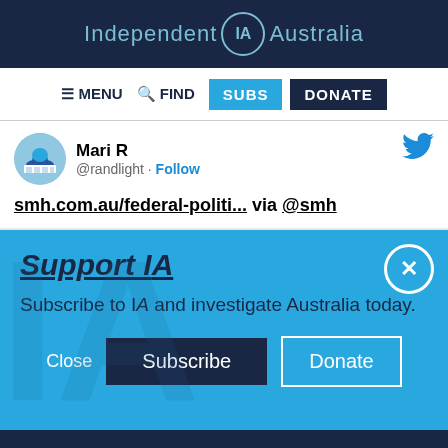Independent IA Australia
[Figure (screenshot): Navigation bar with MENU, FIND, SUBS (cyan), DONATE (dark navy) buttons]
[Figure (screenshot): Tweet by Mari R (@randlight) with link smh.com.au/federal-politi... via @smh and Twitter bird icon]
smh.com.au/federal-politi... via @smh
Support IA
Subscribe to IA and investigate Australia today.
[Figure (screenshot): Support IA overlay with Close, Subscribe, and Donate buttons on cyan background with IA watermark]
Social media icons: Twitter, Facebook, LinkedIn, Flipboard, share, plus